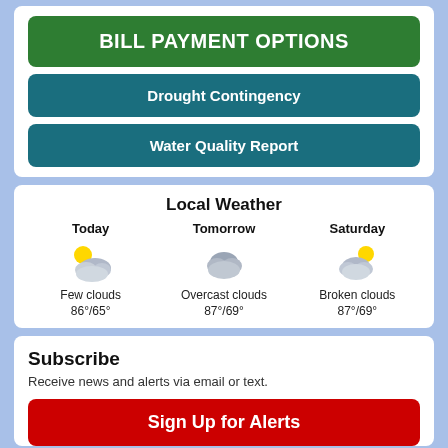BILL PAYMENT OPTIONS
Drought Contingency
Water Quality Report
Local Weather
[Figure (illustration): Three weather icons: Today - few clouds with sun, Tomorrow - overcast clouds, Saturday - broken clouds with sun. Labels: Few clouds 86°/65°, Overcast clouds 87°/69°, Broken clouds 87°/69°]
Subscribe
Receive news and alerts via email or text.
Sign Up for Alerts